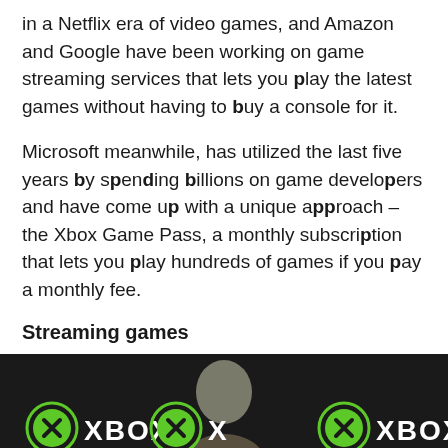in a Netflix era of video games, and Amazon and Google have been working on game streaming services that lets you play the latest games without having to buy a console for it.
Microsoft meanwhile, has utilized the last five years by spending billions on game developers and have come up with a unique approach – the Xbox Game Pass, a monthly subscription that lets you play hundreds of games if you pay a monthly fee.
Streaming games
[Figure (photo): A man in front of a dark background with repeating Xbox logos (green circular Xbox logo followed by the word XBOX in white).]